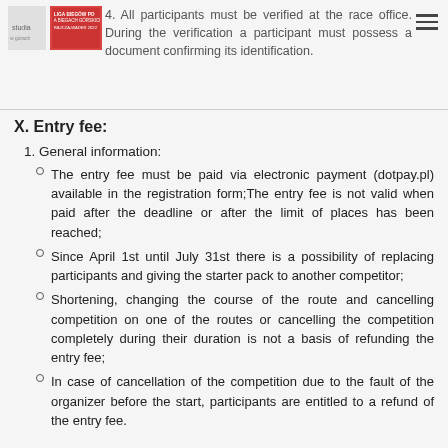4. All participants must be verified at the race office. During the verification a participant must possess a document confirming its identification.
X. Entry fee:
1. General information:
The entry fee must be paid via electronic payment (dotpay.pl) available in the registration form;The entry fee is not valid when paid after the deadline or after the limit of places has been reached;
Since April 1st until July 31st there is a possibility of replacing participants and giving the starter pack to another competitor;
Shortening, changing the course of the route and cancelling competition on one of the routes or cancelling the competition completely during their duration is not a basis of refunding the entry fee;
In case of cancellation of the competition due to the fault of the organizer before the start, participants are entitled to a refund of the entry fee.